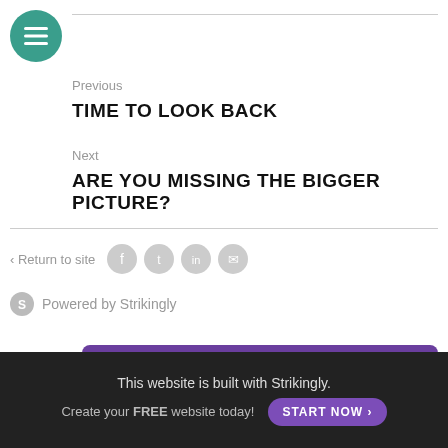[Figure (logo): Hamburger menu icon — teal circular button with three white horizontal lines]
Previous
TIME TO LOOK BACK
Next
ARE YOU MISSING THE BIGGER PICTURE?
< Return to site
[Figure (other): Social sharing icons: Facebook, Twitter, LinkedIn, Email — gray circles]
Powered by Strikingly
[Figure (other): Purple banner: CREATE A SITE WITH strikingly]
This website is built with Strikingly.
Create your FREE website today!
START NOW >